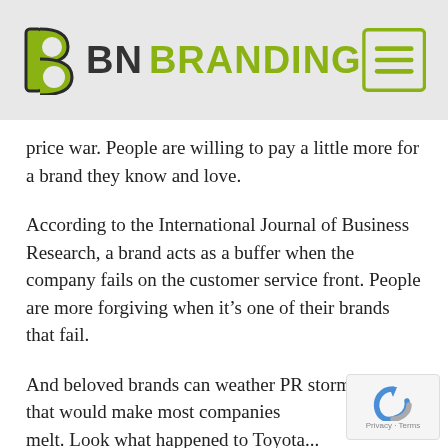[Figure (logo): BN Branding logo with olive/green stylized 'b' icon on left, bold 'BN' in dark gray, 'BRANDING' in olive green, and a menu/hamburger icon in a square on the right, set against a light gray header background]
price war. People are willing to pay a little more for a brand they know and love.
According to the International Journal of Business Research, a brand acts as a buffer when the company fails on the customer service front. People are more forgiving when it's one of their brands that fail.
And beloved brands can weather PR storms that would make most companies melt. Look what happened to Toyota...